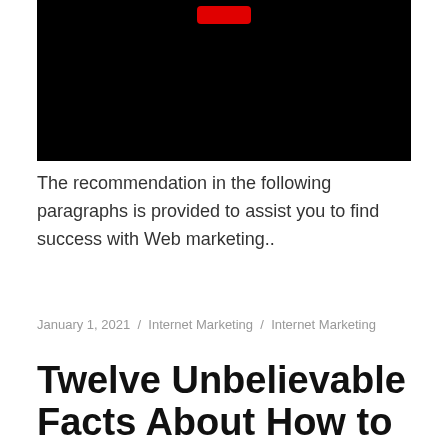[Figure (screenshot): Black video thumbnail with a red YouTube-style play button at the top center]
The recommendation in the following paragraphs is provided to assist you to find success with Web marketing..
January 1, 2021 / Internet Marketing / Internet Marketing
Twelve Unbelievable Facts About How to make money as a teenager